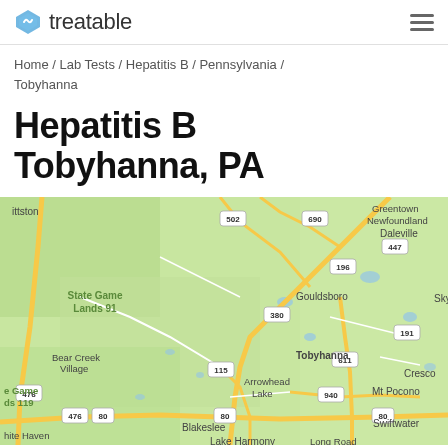treatable
Home / Lab Tests / Hepatitis B / Pennsylvania / Tobyhanna
Hepatitis B Tobyhanna, PA
[Figure (map): Google Maps view centered on Tobyhanna, PA showing surrounding areas including Gouldsboro, Daleville, Bear Creek Village, Arrowhead Lake, Blakeslee, Lake Harmony, Mt Pocono, Greentown, Newfoundland, and Cresco. Roads and state game lands visible. Route numbers shown: 476, 380, 690, 502, 196, 447, 191, 611, 115, 940, 80.]